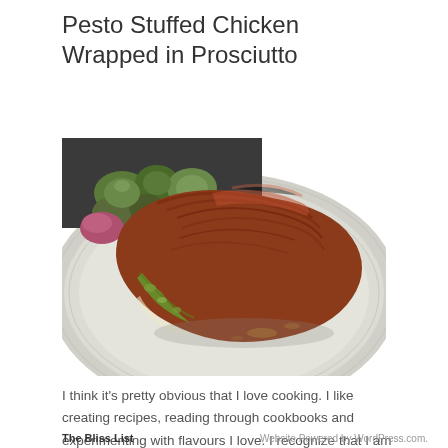Pesto Stuffed Chicken Wrapped in Prosciutto
[Figure (photo): Photo of pesto stuffed chicken wrapped in prosciutto on a white plate, with roasted brussels sprouts and vegetables visible in the background]
I think it's pretty obvious that I love cooking. I like creating recipes, reading through cookbooks and experimenting with flavours I love. I recognize that I am not a professional chef. I have no formal training. I don't
The Bliss List     Website Powered by WordPress.com.